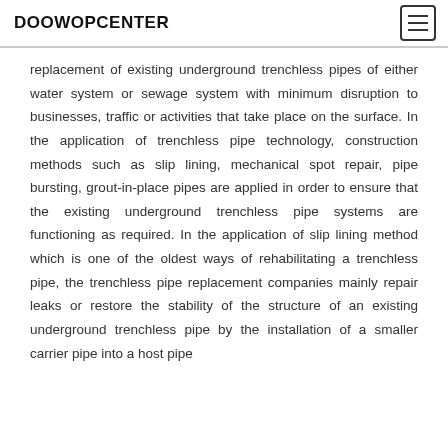DOOWOPCENTER
replacement of existing underground trenchless pipes of either water system or sewage system with minimum disruption to businesses, traffic or activities that take place on the surface. In the application of trenchless pipe technology, construction methods such as slip lining, mechanical spot repair, pipe bursting, grout-in-place pipes are applied in order to ensure that the existing underground trenchless pipe systems are functioning as required. In the application of slip lining method which is one of the oldest ways of rehabilitating a trenchless pipe, the trenchless pipe replacement companies mainly repair leaks or restore the stability of the structure of an existing underground trenchless pipe by the installation of a smaller carrier pipe into a host pipe